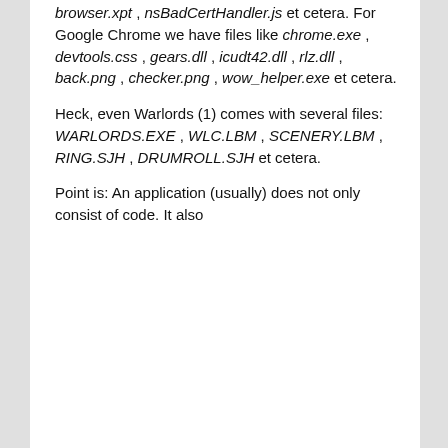browser.xpt , nsBadCertHandler.js et cetera. For Google Chrome we have files like chrome.exe , devtools.css , gears.dll , icudt42.dll , rlz.dll , back.png , checker.png , wow_helper.exe et cetera.
Heck, even Warlords (1) comes with several files: WARLORDS.EXE , WLC.LBM , SCENERY.LBM , RING.SJH , DRUMROLL.SJH et cetera.
Point is: An application (usually) does not only consist of code. It also